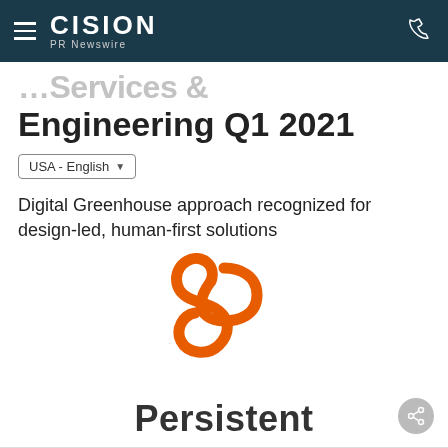CISION PR Newswire
Engineering Q1 2021
USA - English
Digital Greenhouse approach recognized for design-led, human-first solutions
[Figure (logo): Persistent Systems logo — orange infinity-loop 'P' symbol above the word Persistent in dark gray bold text]